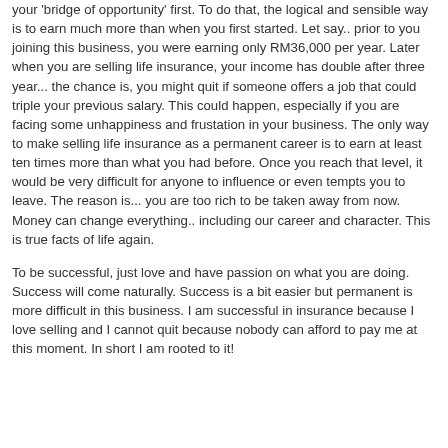your 'bridge of opportunity' first. To do that, the logical and sensible way is to earn much more than when you first started. Let say.. prior to you joining this business, you were earning only RM36,000 per year. Later when you are selling life insurance, your income has double after three year... the chance is, you might quit if someone offers a job that could triple your previous salary. This could happen, especially if you are facing some unhappiness and frustation in your business. The only way to make selling life insurance as a permanent career is to earn at least ten times more than what you had before. Once you reach that level, it would be very difficult for anyone to influence or even tempts you to leave. The reason is... you are too rich to be taken away from now. Money can change everything.. including our career and character. This is true facts of life again.
To be successful, just love and have passion on what you are doing. Success will come naturally. Success is a bit easier but permanent is more difficult in this business. I am successful in insurance because I love selling and I cannot quit because nobody can afford to pay me at this moment. In short I am rooted to it!